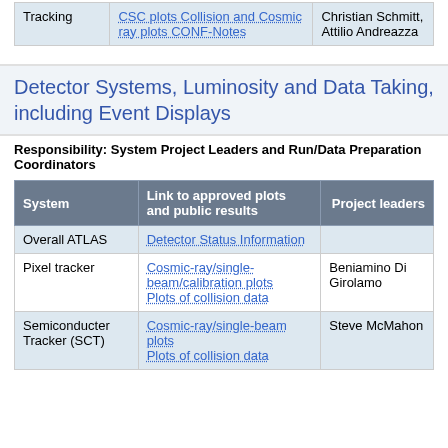|  |  |  |
| --- | --- | --- |
| Tracking | CSC plots Collision and Cosmic ray plots CONF-Notes | Christian Schmitt, Attilio Andreazza |
Detector Systems, Luminosity and Data Taking, including Event Displays
Responsibility: System Project Leaders and Run/Data Preparation Coordinators
| System | Link to approved plots and public results | Project leaders |
| --- | --- | --- |
| Overall ATLAS | Detector Status Information |  |
| Pixel tracker | Cosmic-ray/single-beam/calibration plots
Plots of collision data | Beniamino Di Girolamo |
| Semiconducter Tracker (SCT) | Cosmic-ray/single-beam plots
Plots of collision data | Steve McMahon |